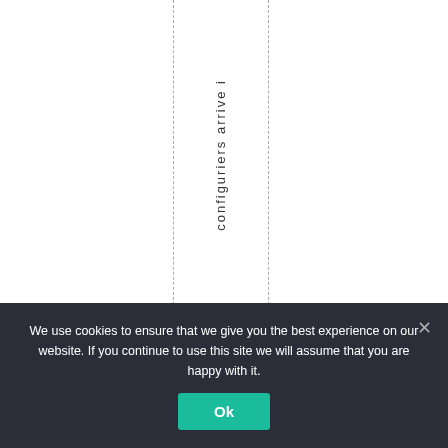[Figure (other): A table or grid layout with dashed vertical column dividers showing a vertical text 'configuriers arrive i' (partial word, appears to be cut off) rotated 90 degrees in the center column against a white background.]
We use cookies to ensure that we give you the best experience on our website. If you continue to use this site we will assume that you are happy with it.